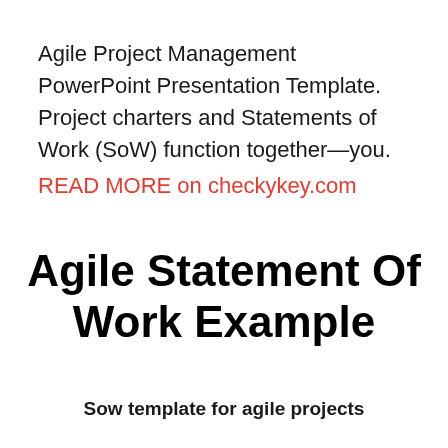Agile Project Management PowerPoint Presentation Template. Project charters and Statements of Work (SoW) function together—you.
READ MORE on checkykey.com
Agile Statement Of Work Example
Sow template for agile projects